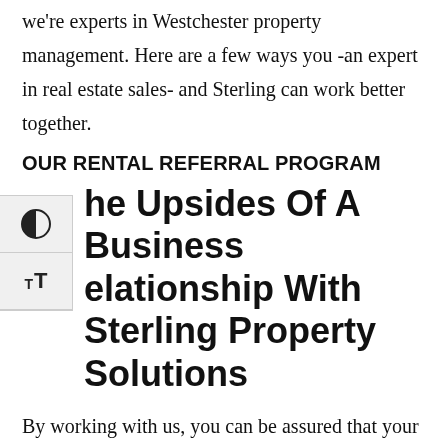we're experts in Westchester property management. Here are a few ways you -an expert in real estate sales- and Sterling can work better together.
OUR RENTAL REFERRAL PROGRAM
The Upsides Of A Business Relationship With Sterling Property Solutions
By working with us, you can be assured that your clients are in good hands until we return the listing to you thanks to our experience in managing homes and condos.